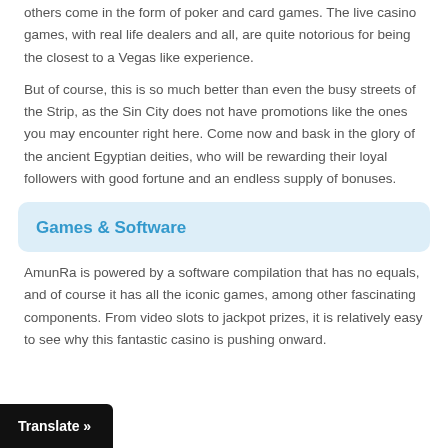others come in the form of poker and card games. The live casino games, with real life dealers and all, are quite notorious for being the closest to a Vegas like experience.
But of course, this is so much better than even the busy streets of the Strip, as the Sin City does not have promotions like the ones you may encounter right here. Come now and bask in the glory of the ancient Egyptian deities, who will be rewarding their loyal followers with good fortune and an endless supply of bonuses.
Games & Software
AmunRa is powered by a software compilation that has no equals, and of course it has all the iconic games, among other fascinating components. From video slots to jackpot prizes, it is relatively easy to see why this fantastic casino is pushing onward.
Translate »